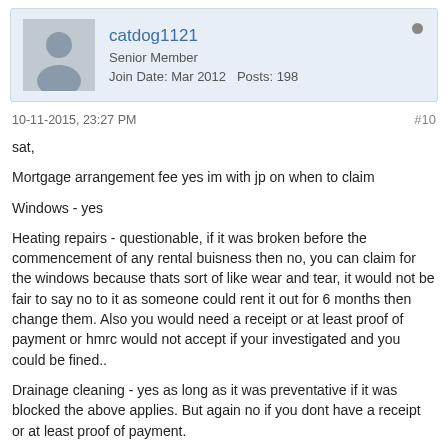catdog1121 | Senior Member | Join Date: Mar 2012 | Posts: 198
10-11-2015, 23:27 PM  #10
sat,

Mortgage arrangement fee yes im with jp on when to claim

Windows - yes

Heating repairs - questionable, if it was broken before the commencement of any rental buisness then no, you can claim for the windows because thats sort of like wear and tear, it would not be fair to say no to it as someone could rent it out for 6 months then change them. Also you would need a receipt or at least proof of payment or hmrc would not accept if your investigated and you could be fined..

Drainage cleaning - yes as long as it was preventative if it was blocked the above applies. But again no if you dont have a receipt or at least proof of payment.